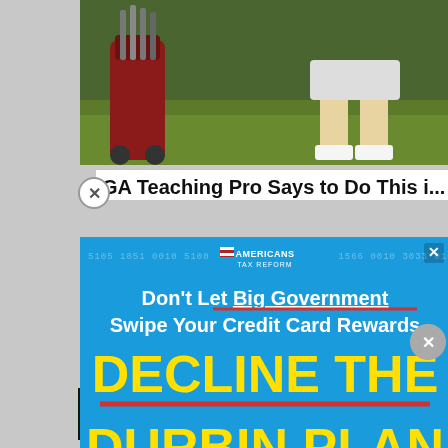[Figure (photo): Golf bags and a person's legs on a golf course green]
GA Teaching Pro Says to Do This i...
[Figure (infographic): Americans for Tax Reform political advertisement. Text reads: Don't Let Big Government Swipe Your Credit Card Rewards. DECLINE THE DURBIN PLAN. Shows caricatures of Joe Biden and Dick Durbin with shirts reading 'DON'T BLAME ME' and 'NO REWARDS FOR ALL'. Paid for by Americans for Tax Reform.]
[Figure (infographic): Narcofornia ad: HOW PROGRESSIVES SOLD OUT RURAL TOWNS TO FOREIGN DRUG LORDS. WATCH NOW button. Narcofornia logo in yellow.]
Psoriatic Arthritis Early Signals